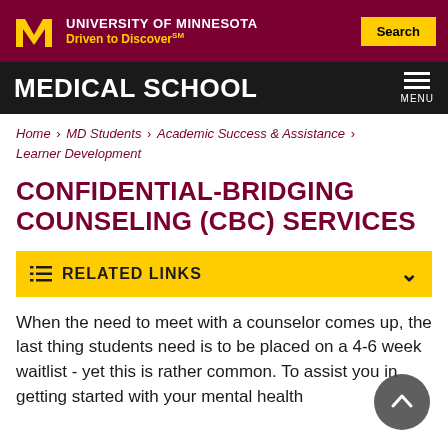[Figure (logo): University of Minnesota logo with M mark, University of Minnesota name, Driven to Discover tagline, and Search button on maroon background]
MEDICAL SCHOOL
Home › MD Students › Academic Success & Assistance › Learner Development
CONFIDENTIAL-BRIDGING COUNSELING (CBC) SERVICES
RELATED LINKS
When the need to meet with a counselor comes up, the last thing students need is to be placed on a 4-6 week waitlist - yet this is rather common. To assist you in getting started with your mental health